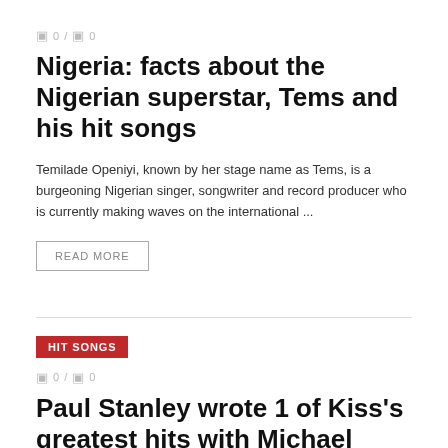0 / 0
Nigeria: facts about the Nigerian superstar, Tems and his hit songs
Temilade Openiyi, known by her stage name as Tems, is a burgeoning Nigerian singer, songwriter and record producer who is currently making waves on the international ...
READ MORE
HIT SONGS
0 / 0
Paul Stanley wrote 1 of Kiss's greatest hits with Michael Bolton
While Michael Bolton's mighty ballads don't sound like Kiss songs, Bolton co-wrote a colossal hit for Kiss with Paul Stanley. Stanley revealed that someone